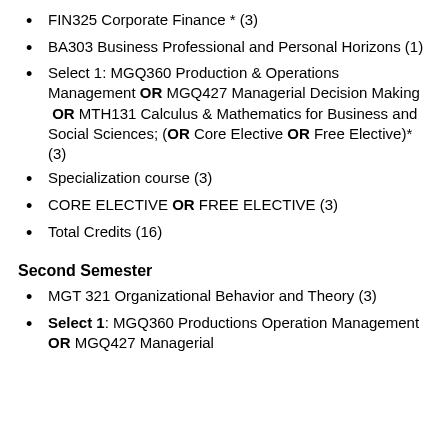FIN325 Corporate Finance * (3)
BA303 Business Professional and Personal Horizons (1)
Select 1: MGQ360 Production & Operations Management OR MGQ427 Managerial Decision Making OR MTH131 Calculus & Mathematics for Business and Social Sciences; (OR Core Elective OR Free Elective)* (3)
Specialization course (3)
CORE ELECTIVE OR FREE ELECTIVE (3)
Total Credits (16)
Second Semester
MGT321 Organizational Behavior and Theory (3)
Select 1: MGQ360 Productions Operation Management OR MGQ427 Managerial